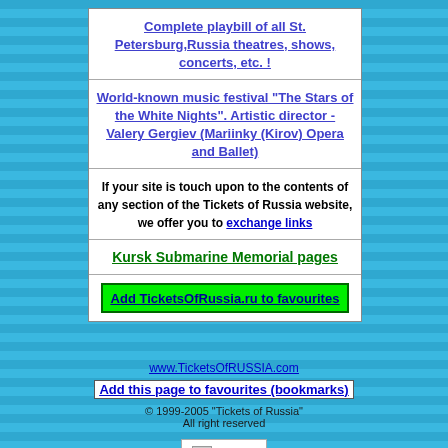Complete playbill of all St. Petersburg,Russia theatres, shows, concerts, etc. !
World-known music festival "The Stars of the White Nights". Artistic director - Valery Gergiev (Mariinky (Kirov) Opera and Ballet)
If your site is touch upon to the contents of any section of the Tickets of Russia website, we offer you to exchange links
Kursk Submarine Memorial pages
Add TicketsOfRussia.ru to favourites
www.TicketsOfRUSSIA.com
Add this page to favourites (bookmarks)
© 1999-2005 "Tickets of Russia" All right reserved
[Figure (logo): MyTrix logo with small image placeholder and green text]